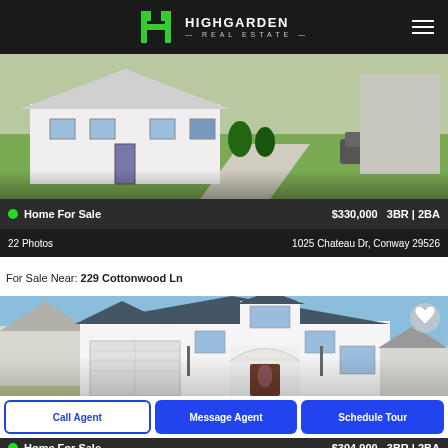HIGHGARDEN REAL ESTATE
[Figure (photo): Exterior photo of a single-story white house with green lawn and concrete driveway]
Home For Sale   $330,000   3BR | 2BA
22 Photos   1025 Chateau Dr, Conway 29526
For Sale Near: 229 Cottonwood Ln
[Figure (photo): Exterior photo of a two-story white house with dark roof, garage, and arched entrance]
Call Agent   Message Agent   Schedule Tour
Home For Sale   $304,900   3BR | 2BA